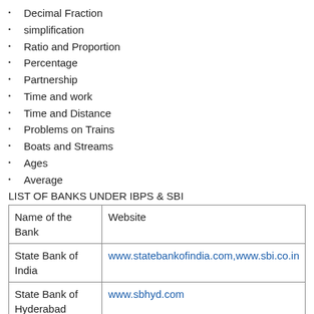Decimal Fraction
simplification
Ratio and Proportion
Percentage
Partnership
Time and work
Time and Distance
Problems on Trains
Boats and Streams
Ages
Average
LIST OF BANKS UNDER IBPS & SBI
| Name of the Bank | Website |
| --- | --- |
| State Bank of India | www.statebankofindia.com,www.sbi.co.in |
| State Bank of Hyderabad | www.sbhyd.com |
| State Bank of | www.sbp.co.in |